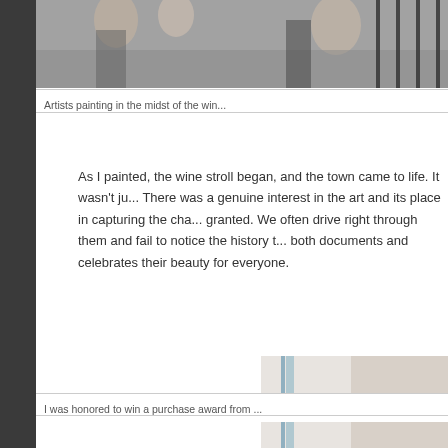[Figure (photo): Artists painting outdoors in the midst of a wine event, people visible in background]
Artists painting in the midst of the win...
As I painted, the wine stroll began, and the town came to life. It wasn't ju... There was a genuine interest in the art and its place in capturing the cha... granted. We often drive right through them and fail to notice the history t... both documents and celebrates their beauty for everyone.
[Figure (photo): Two men standing in front of a painting. One in black shirt, one with arms crossed in blue shirt. Watermark: © Rachel Neil]
I was honored to win a purchase award from ...